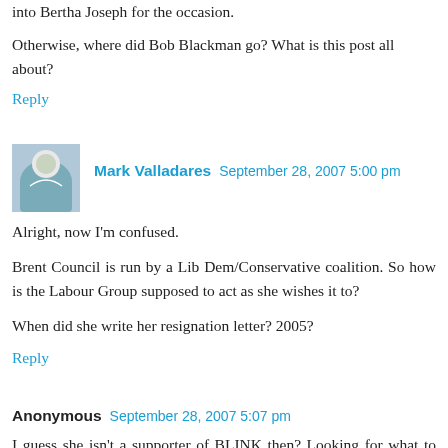into Bertha Joseph for the occasion.
Otherwise, where did Bob Blackman go? What is this post all about?
Reply
Mark Valladares  September 28, 2007 5:00 pm
Alright, now I'm confused.
Brent Council is run by a Lib Dem/Conservative coalition. So how is the Labour Group supposed to act as she wishes it to?
When did she write her resignation letter? 2005?
Reply
Anonymous  September 28, 2007 5:07 pm
I guess she isn't a supporter of BLINK then? Looking for what to say in Brent, the organisation for Brent in the...